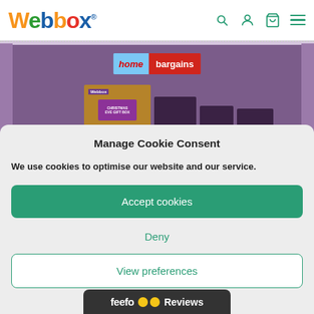Webbox
[Figure (screenshot): Webbox website header with navigation icons and a banner showing Home Bargains logo and Christmas gift box products]
Manage Cookie Consent
We use cookies to optimise our website and our service.
Accept cookies
Deny
View preferences
[Figure (logo): Feefo Reviews logo bar with yellow eye icons]